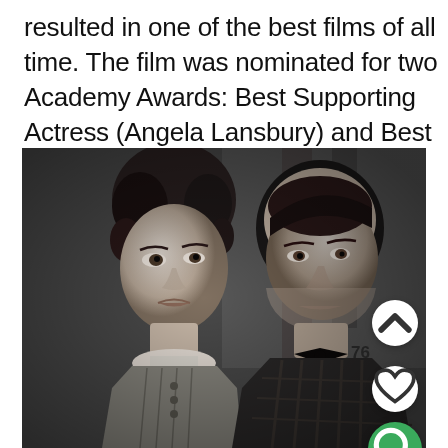resulted in one of the best films of all time. The film was nominated for two Academy Awards: Best Supporting Actress (Angela Lansbury) and Best Editing.
[Figure (photo): Black and white film still showing a woman in period dress with bow at collar and a man in plaid jacket standing behind her, both looking slightly off-camera.]